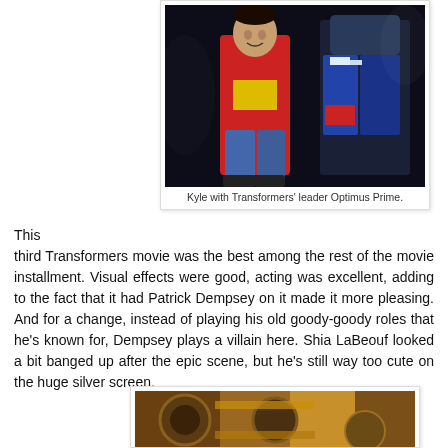[Figure (photo): A young boy in a red jacket posing with Transformers character Optimus Prime costume at what appears to be a movie event.]
Kyle with Transformers' leader Optimus Prime.
This third Transformers movie was the best among the rest of the movie installment. Visual effects were good, acting was excellent, adding to the fact that it had Patrick Dempsey on it made it more pleasing. And for a change, instead of playing his old goody-goody roles that he's known for, Dempsey plays a villain here. Shia LaBeouf looked a bit banged up after the epic scene, but he's still way too cute on the huge silver screen.
[Figure (photo): Partial view of another photo, appears to show Transformers characters or props with warm golden/brown tones.]